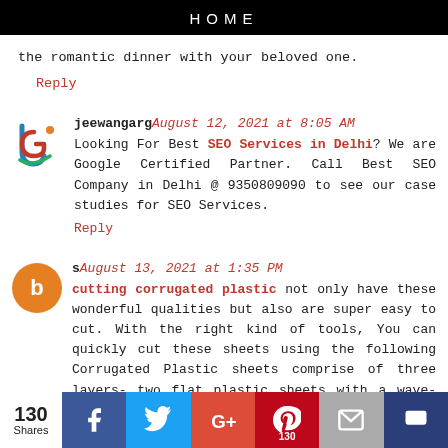HOME
the romantic dinner with your beloved one.
Reply
jeewangarg August 12, 2021 at 8:05 AM
Looking For Best SEO Services in Delhi? We are Google Certified Partner. Call Best SEO Company in Delhi @ 9350809090 to see our case studies for SEO Services.
Reply
s August 13, 2021 at 1:35 PM
cutting corrugated plastic not only have these wonderful qualities but also are super easy to cut. With the right kind of tools, You can quickly cut these sheets using the following Corrugated Plastic sheets comprise of three layers- two flat plastic sheets with a wave-like ribbed center layer. The two